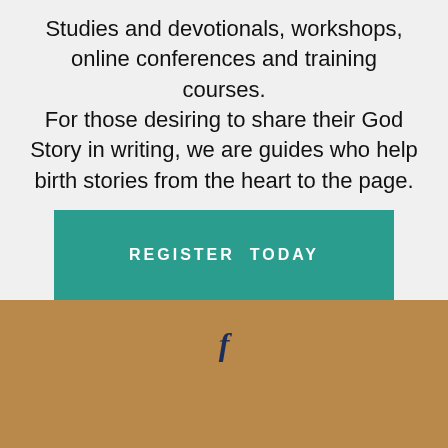Studies and devotionals, workshops, online conferences and training courses. For those desiring to share their God Story in writing, we are guides who help birth stories from the heart to the page.
[Figure (other): Teal/green rectangular button with text 'REGISTER TODAY' in white uppercase spaced letters]
[Figure (other): Gold/tan footer section with a Facebook 'f' icon in dark navy blue]